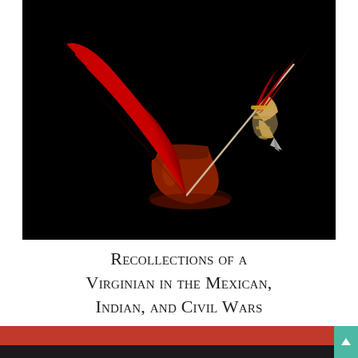[Figure (photo): A red feather quill pen resting in a dark red ink bottle against a black background. The quill is large and red, with a decorative gold nib holder, and the ink bottle is dark amber/red glass.]
Recollections of a Virginian in the Mexican, Indian, and Civil Wars